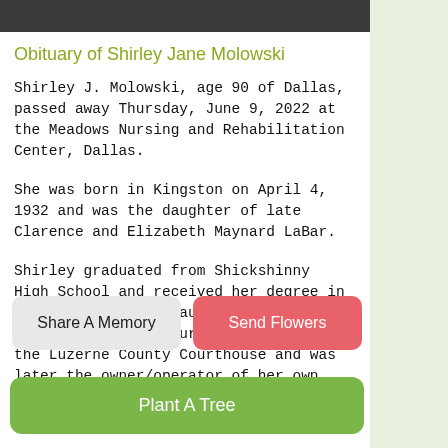Obituary of Shirley Jane Molowski
Shirley J. Molowski, age 90 of Dallas, passed away Thursday, June 9, 2022 at the Meadows Nursing and Rehabilitation Center, Dallas.
She was born in Kingston on April 4, 1932 and was the daughter of late Clarence and Elizabeth Maynard LaBar.
Shirley graduated from Shickshinny High School and received her degree in cosmetology from beauty school. She worked in the Treasury Department in the Luzerne County Courthouse and was later the owner/operator of her own beauty shop in both Dallas
Share A Memory
Send Flowers
Plant A Tree